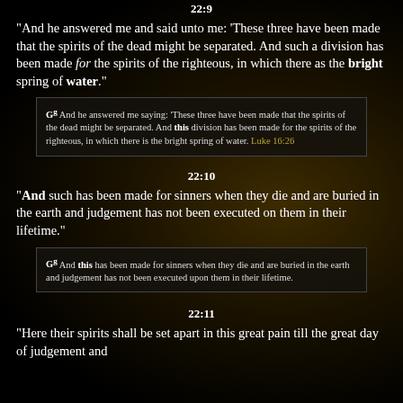22:9
"And he answered me and said unto me: 'These three have been made that the spirits of the dead might be separated. And such a division has been made for the spirits of the righteous, in which there as the bright spring of water."
G^g And he answered me saying: 'These three have been made that the spirits of the dead might be separated. And this division has been made for the spirits of the righteous, in which there is the bright spring of water. Luke 16:26
22:10
"And such has been made for sinners when they die and are buried in the earth and judgement has not been executed on them in their lifetime."
G^g And this has been made for sinners when they die and are buried in the earth and judgement has not been executed upon them in their lifetime.
22:11
"Here their spirits shall be set apart in this great pain till the great day of judgement and